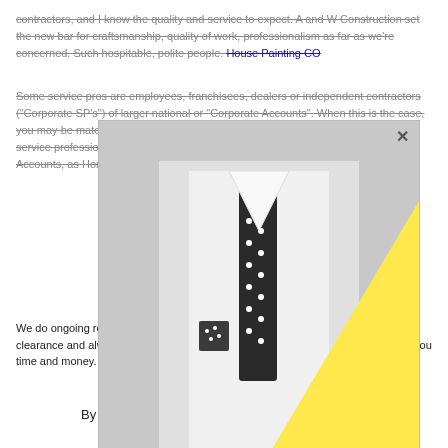contractors, and I know the quality and service to expect. A and W Construction set the new bar for craftsmanship, quality of work, professionalism as far as we're concerned. Such hospitable, polite people. House Painting CO
Some service pros are employees, franchisees, dealers or independent contractors ("Corporate SP's") of larger national or "Corporate Accounts". When this is the case, you may be matched with the Corporate Account or with one of their Corporate service professionals. The above screening process is not applicable to Corporate Accounts, as HomeAdvisor does not screen Corporate Accounts or Corporate SPs.
[Figure (photo): Black and white photo of a man in a white suit with a polka dot tie, overlaid with a large yellow triangle shape. The image appears as a modal overlay with an X close button and grey background.]
We do ongoing routine our home program includes repairing any cracks ongoing clearance and always how our maintenance progam can benefit you while saving you time and money. House Painting CO
By clicking Get a Quote, you affirm you have read and agree to the HomeAdvisor Terms &